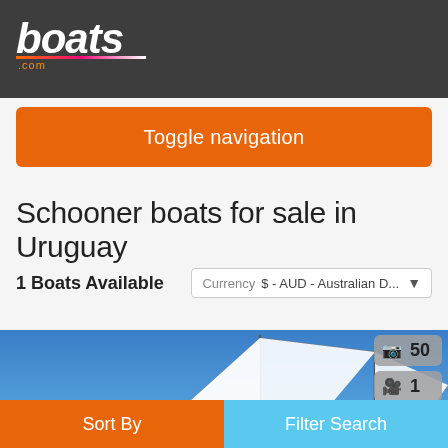boats.com
Toggle navigation
Schooner boats for sale in Uruguay
1 Boats Available   Currency  $ - AUD - Australian D...
[Figure (photo): Schooner sailboat with white sails against a blue sky]
📷 50   🎥 1
Sort By   Filter Search